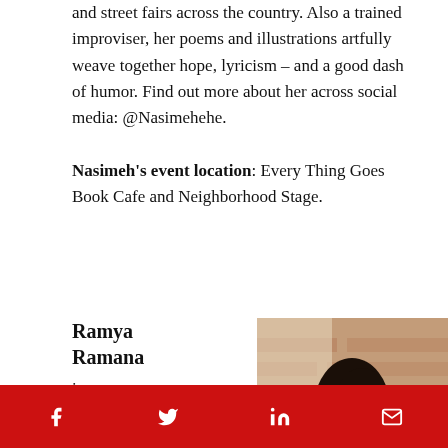and street fairs across the country. Also a trained improviser, her poems and illustrations artfully weave together hope, lyricism – and a good dash of humor. Find out more about her across social media: @Nasimehehe.
Nasimeh's event location: Every Thing Goes Book Cafe and Neighborhood Stage.
Ramya Ramana is an NYC Youth Poet
[Figure (photo): Portrait photo of Ramya Ramana, a young woman with dark hair in a bun, against a brick wall background.]
Social sharing icons: Facebook, Twitter, LinkedIn, Email